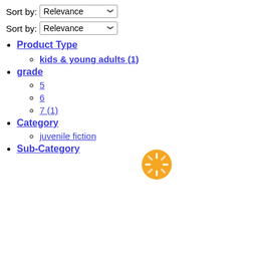Sort by: Relevance
Sort by: Relevance
Product Type
kids & young adults (1)
grade
5
6
7 (1)
Category
juvenile fiction
Sub-Category
[Figure (other): Loading spinner icon, orange circular loading indicator]